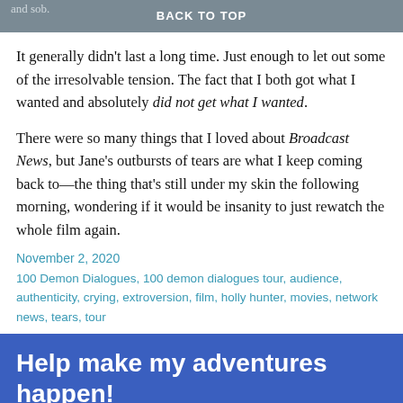and sob. BACK TO TOP
It generally didn't last a long time. Just enough to let out some of the irresolvable tension. The fact that I both got what I wanted and absolutely did not get what I wanted.
There were so many things that I loved about Broadcast News, but Jane's outbursts of tears are what I keep coming back to—the thing that's still under my skin the following morning, wondering if it would be insanity to just rewatch the whole film again.
November 2, 2020
100 Demon Dialogues, 100 demon dialogues tour, audience, authenticity, crying, extroversion, film, holly hunter, movies, network news, tears, tour
Help make my adventures happen!